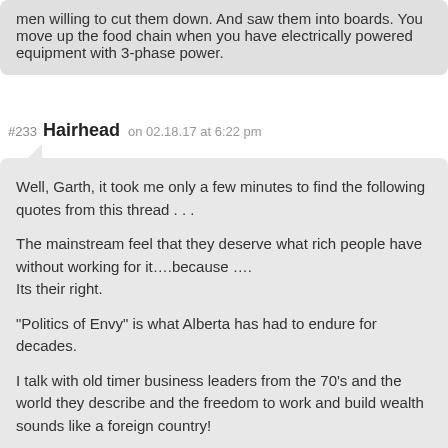men willing to cut them down. And saw them into boards. You move up the food chain when you have electrically powered equipment with 3-phase power.
#233 Hairhead on 02.18.17 at 6:22 pm
Well, Garth, it took me only a few minutes to find the following quotes from this thread . . .

The mainstream feel that they deserve what rich people have without working for it….because ….
Its their right.

"Politics of Envy" is what Alberta has had to endure for decades.

I talk with old timer business leaders from the 70's and the world they describe and the freedom to work and build wealth sounds like a foreign country!

It's a sad story that someone would look at success and be so self-absorbed in their own pity party that they have to condemn everyone that appears to have more.